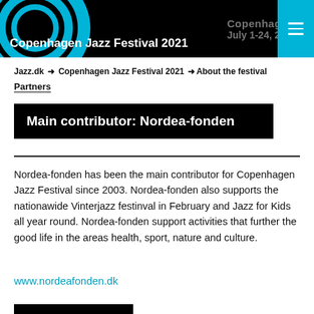Copenhagen Jazz Festival 2021 | Copenhagen Jazz Festival July 1-24 2021
Jazz.dk → Copenhagen Jazz Festival 2021 →About the festival Partners
Main contributor: Nordea-fonden
Nordea-fonden has been the main contributor for Copenhagen Jazz Festival since 2003. Nordea-fonden also supports the nationawide Vinterjazz festinval in February and Jazz for Kids all year round. Nordea-fonden support activities that further the good life in the areas health, sport, nature and culture.
www.nordeafonden.dk